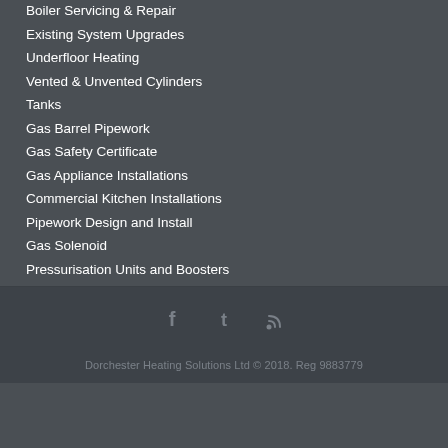Boiler Servicing & Repair
Existing System Upgrades
Underfloor Heating
Vented & Unvented Cylinders
Tanks
Gas Barrel Pipework
Gas Safety Certificate
Gas Appliance Installations
Commercial Kitchen Installations
Pipework Design and Install
Gas Solenoid
Pressurisation Units and Boosters
Dorchester Heating Solutions Ltd © 2018. Reg 9883779